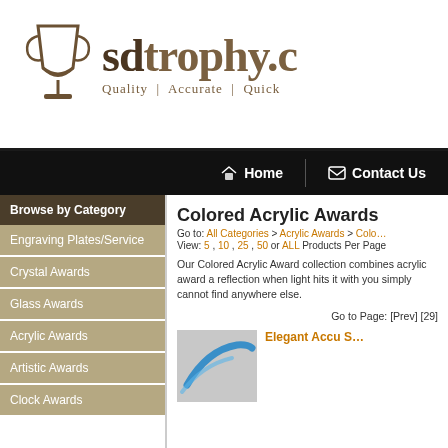[Figure (logo): sdtrophy.com logo with trophy cup icon and tagline Quality | Accurate | Quick]
Home   Contact Us
Browse by Category
Engraving Plates/Service
Crystal Awards
Glass Awards
Acrylic Awards
Artistic Awards
Clock Awards
Colored Acrylic Awards
Go to: All Categories > Acrylic Awards > Colo...
View: 5 , 10 , 25 , 50 or ALL Products Per Page
Our Colored Acrylic Award collection combines acrylic award a reflection when light hits it with you simply cannot find anywhere else.
Go to Page: [Prev] [29]
[Figure (photo): Partial product image of acrylic award with blue swoosh]
Elegant Accu S...